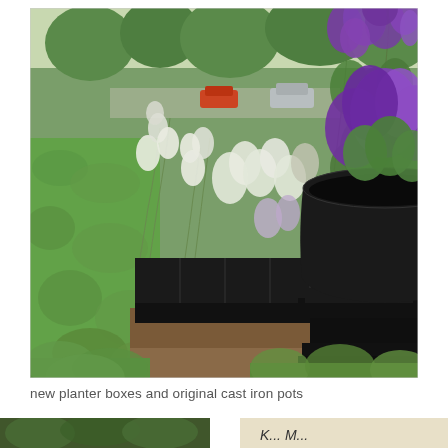[Figure (photo): Outdoor garden photograph showing a row of black rectangular planter boxes filled with white and purple flowering plants, alongside a large black cast iron pot on a pedestal. Green hedges line the left side. Trees and parked cars are visible in the background.]
new planter boxes and original cast iron pots
[Figure (photo): Partial bottom strip showing the tops of two additional garden photographs cropped at the bottom of the page.]